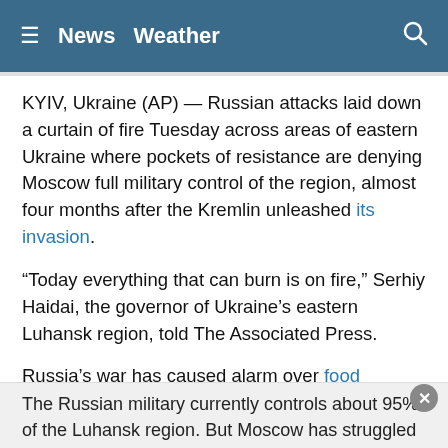≡  News  Weather  🔍
KYIV, Ukraine (AP) — Russian attacks laid down a curtain of fire Tuesday across areas of eastern Ukraine where pockets of resistance are denying Moscow full military control of the region, almost four months after the Kremlin unleashed its invasion.
“Today everything that can burn is on fire,” Serhiy Haidai, the governor of Ukraine’s eastern Luhansk region, told The Associated Press.
Russia’s war has caused alarm over food supplies from Ukraine to the rest of the world and gas supplies from Russia, as well as raising questions about security in Western Europe.
The Russian military currently controls about 95% of the Luhansk region. But Moscow has struggled for weeks to